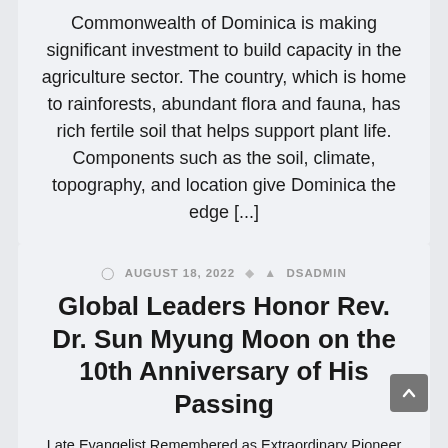Commonwealth of Dominica is making significant investment to build capacity in the agriculture sector. The country, which is home to rainforests, abundant flora and fauna, has rich fertile soil that helps support plant life. Components such as the soil, climate, topography, and location give Dominica the edge […]
AUGUST 18, 2022  DSADMIN
Global Leaders Honor Rev. Dr. Sun Myung Moon on the 10th Anniversary of His Passing
Late Evangelist Remembered as Extraordinary Pioneer of Peace and Unity Washington, DC, Aug. 17, 2022 (GLOBE NEWSWIRE) — FOR IMMEDIATE RELEASE Global Leaders Honor Rev. Dr. Sun Myung Moon on the